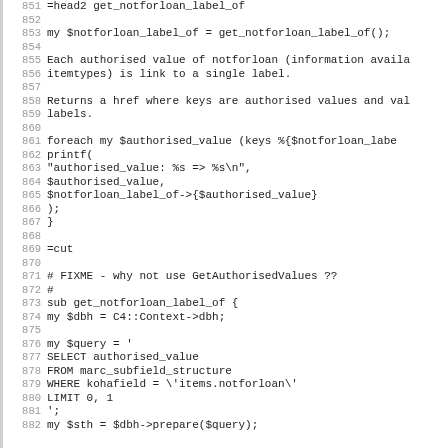[Figure (screenshot): Source code listing showing Perl code lines 851-882, including a head2 POD directive for get_notforloan_label_of, description text, a foreach loop with printf, =cut directive, a FIXME comment, and the beginning of the sub get_notforloan_label_of subroutine with a SQL query.]